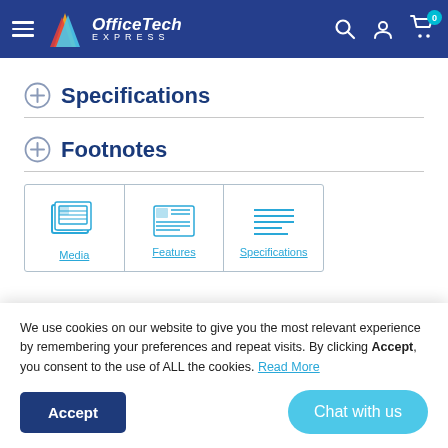OfficeTech EXPRESS
Specifications
Footnotes
[Figure (other): Three quick-link icons in a bordered table: Media, Features, Specifications]
We use cookies on our website to give you the most relevant experience by remembering your preferences and repeat visits. By clicking Accept, you consent to the use of ALL the cookies. Read More
Accept
Chat with us